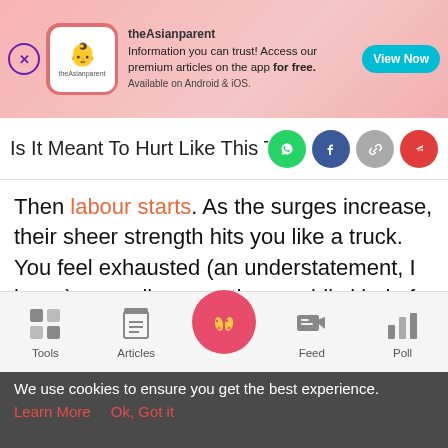[Figure (screenshot): theAsianparent app advertisement banner with close button, app icon, text 'Information you can trust! Access our premium articles on the app for free. Available on Android & iOS.' and a 'View Now' button on pink gradient background]
Is It Meant To Hurt Like This To Watch
Then labour starts. As the surges increase, their sheer strength hits you like a truck. You feel exhausted (an understatement, I know), as well as an other-worldly kind of emotion that hasn't been coined or created yet.
Oh, the moment you meet, smell, touch, kiss your sweet
[Figure (screenshot): Bottom navigation bar with Tools, Articles, home/baby feet button, Feed, and Poll icons]
We use cookies to ensure you get the best experience.
Learn More    Ok, Got it